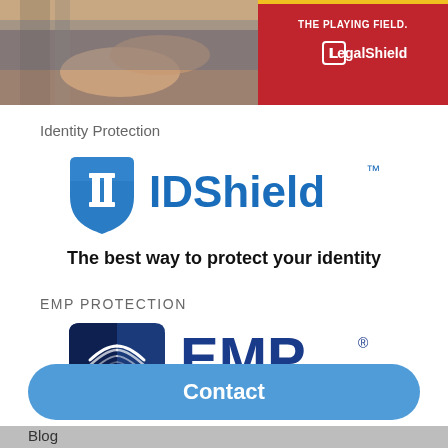[Figure (photo): Top banner with LegalShield advertisement. Left side shows hands/person photo, right side has red background with LegalShield logo and 'THE PLAYING FIELD.' text.]
Identity Protection
[Figure (logo): IDShield logo — blue shield with white Roman numeral II, next to bold blue text 'IDShield' with trademark symbol]
The best way to protect your identity
EMP PROTECTION
[Figure (logo): EMP Shield logo — dark blue shield with radio wave lines on left half, next to text 'EMP SHIELD' in navy blue and dark red]
[Figure (other): Blue rounded rectangle 'Contact' button]
Blog